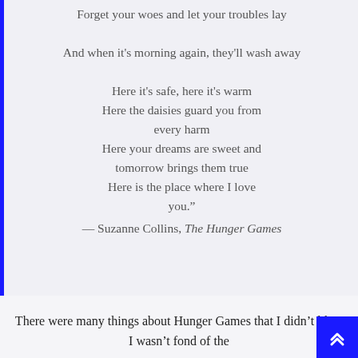Forget your woes and let your troubles lay
And when it's morning again, they'll wash away
Here it's safe, here it's warm
Here the daisies guard you from every harm
Here your dreams are sweet and tomorrow brings them true
Here is the place where I love you."
— Suzanne Collins, The Hunger Games
There were many things about Hunger Games that I didn't like.  I wasn't fond of the